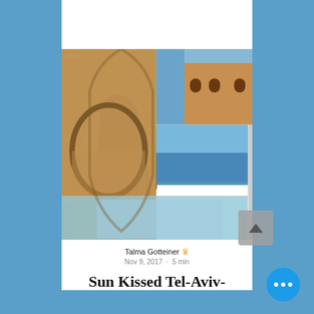[Figure (photo): Photo collage of Tel Aviv-Jaffa scenes: ancient stone arches, Mediterranean buildings, coastline view, clock tower, and a woman in a black t-shirt at two different locations]
Talma Gotteiner 👑
Nov 9, 2017 · 5 min
Sun Kissed Tel-Aviv-